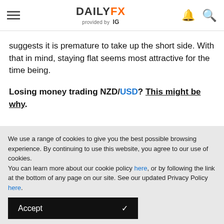DAILYFX provided by IG
suggests it is premature to take up the short side. With that in mind, staying flat seems most attractive for the time being.
Losing money trading NZD/USD? This might be why.
We use a range of cookies to give you the best possible browsing experience. By continuing to use this website, you agree to our use of cookies.
You can learn more about our cookie policy here, or by following the link at the bottom of any page on our site. See our updated Privacy Policy here.
Accept